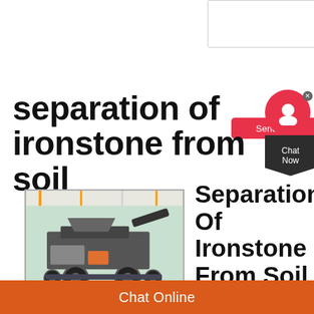[Figure (screenshot): Web form textarea input box at top of page]
Send Now
separation of ironstone from soil
[Figure (photo): Mobile crushing machine / industrial mining equipment in a factory hall]
Separation Of Ironstone From Soil
separation of ironstone
Chat Online